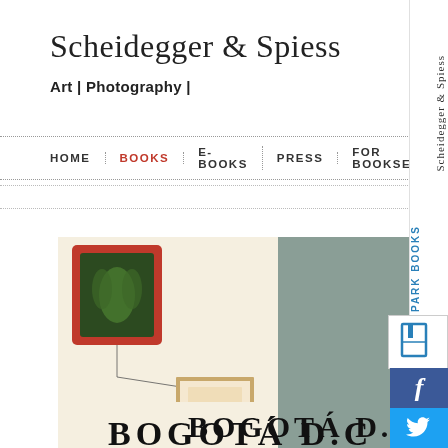Scheidegger & Spiess
Art | Photography |
HOME | BOOKS | E-BOOKS | PRESS | FOR BOOKSELLERS
[Figure (screenshot): Partial book cover showing a cream background with a dark green botanical painting in a red frame, a small framed picture below it connected by wire lines, and the beginning of bold serif title text 'BOGOTÁ D.C.' on a sage green background]
[Figure (logo): Scheidegger & Spiess vertical rotated text sidebar logo]
[Figure (logo): PARK BOOKS vertical rotated text logo with icon]
[Figure (logo): Facebook social media button (blue with f icon)]
[Figure (logo): Twitter social media button (blue with t icon)]